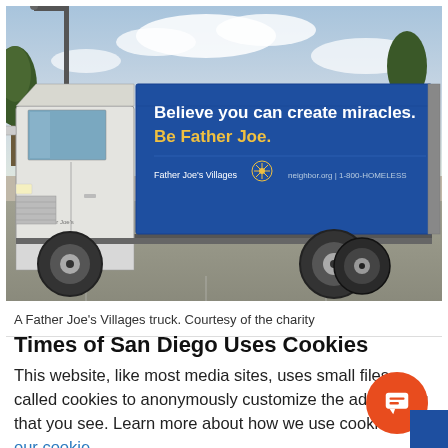[Figure (photo): A white delivery truck with a blue billboard side panel reading 'Believe you can create miracles. Be Father Joe.' and the Father Joe's Villages logo with neighbor.org | 1-800-HOMELESS, parked in a lot with trees and sky in background.]
A Father Joe's Villages truck. Courtesy of the charity
Times of San Diego Uses Cookies
This website, like most media sites, uses small files called cookies to anonymously customize the advertising that you see. Learn more about how we use cookies in our cookie policy.